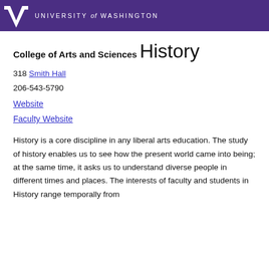UNIVERSITY of WASHINGTON
College of Arts and Sciences
History
318 Smith Hall
206-543-5790
Website
Faculty Website
History is a core discipline in any liberal arts education. The study of history enables us to see how the present world came into being; at the same time, it asks us to understand diverse people in different times and places. The interests of faculty and students in History range temporally from